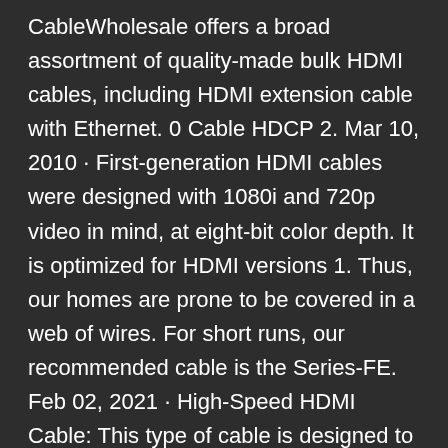CableWholesale offers a broad assortment of quality-made bulk HDMI cables, including HDMI extension cable with Ethernet. 0 Cable HDCP 2. Mar 10, 2010 · First-generation HDMI cables were designed with 1080i and 720p video in mind, at eight-bit color depth. It is optimized for HDMI versions 1. Thus, our homes are prone to be covered in a web of wires. For short runs, our recommended cable is the Series-FE. Feb 02, 2021 · High-Speed HDMI Cable: This type of cable is designed to handle video resolutions of 1080p and 4K (30 Hz) as well as provide support for 3D and Deep Color. 6 out of 5 stars. It is crucial to remember that if a cable is a High Speed HDMI cable, then it will be capable of handling HDR too. Amazon Basics CL3 High-Speed HDMI Cable (6 Feet) Best Prices Today: $6. 4a. Quick view for Availability. to/3dbPOj8High-Speed HDMI Cables (6ft. 95. 1 cable with